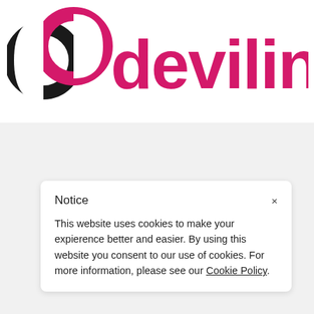[Figure (logo): Devilinks logo with interlocking chain link icon in black and pink/magenta, with the text 'devilinks' in pink/magenta rounded font]
Notice
×
This website uses cookies to make your expierence better and easier. By using this website you consent to our use of cookies. For more information, please see our Cookie Policy.